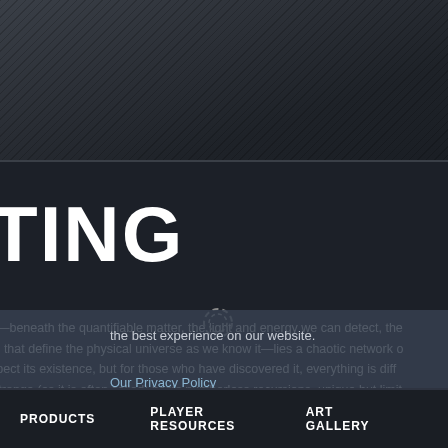[Figure (screenshot): Dark textured header background area with diagonal hatching pattern, dark grey gradient]
TING
e—beneath the quantifiable matter, the light and energy we can detect, the
m that define the physical universe as we know it—lies a chaotic network o
spect its existence, but for those who have discovered it, everything is diff
Strange (as it is often called) hosts numberless recursions, unique but limit
the best experience on our website.
Our Privacy Policy
Got it!
PRODUCTS   PLAYER RESOURCES   ART GALLERY